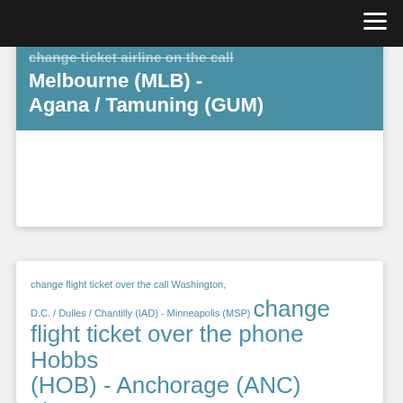change ticket airline on the call Melbourne (MLB) - Agana / Tamuning (GUM)
change flight ticket over the call Washington, D.C. / Dulles / Chantilly (IAD) - Minneapolis (MSP) change flight ticket over the phone Hobbs (HOB) - Anchorage (ANC) change ticket airline on the call